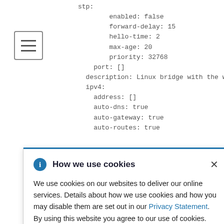[Figure (screenshot): Screenshot of a code editor showing YAML configuration for a Linux bridge network interface, overlaid with a cookie consent banner.]
How we use cookies
We use cookies on our websites to deliver our online services. Details about how we use cookies and how you may disable them are set out in our Privacy Statement. By using this website you agree to our use of cookies.